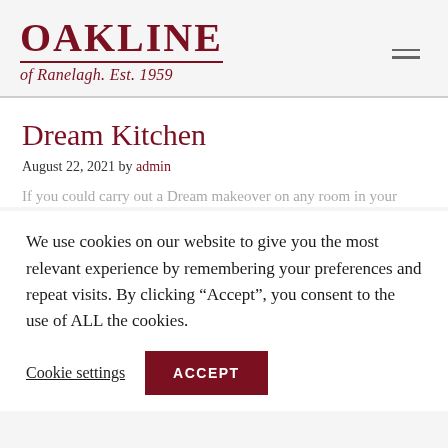[Figure (logo): Oakline of Ranelagh Est. 1959 logo in dark red/maroon with serif font, horizontal rule beneath main text, italic subtitle]
Dream Kitchen
August 22, 2021 by admin
If you could carry out a Dream makeover on any room in your
We use cookies on our website to give you the most relevant experience by remembering your preferences and repeat visits. By clicking “Accept”, you consent to the use of ALL the cookies.
Cookie settings
ACCEPT